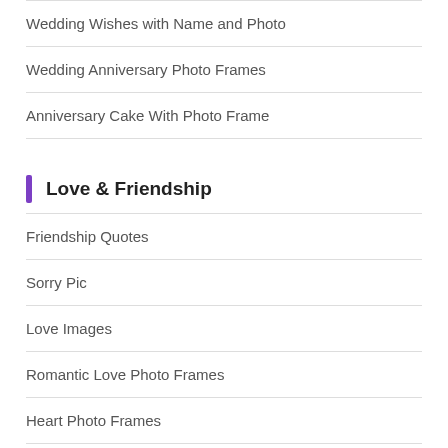Wedding Wishes with Name and Photo
Wedding Anniversary Photo Frames
Anniversary Cake With Photo Frame
Love & Friendship
Friendship Quotes
Sorry Pic
Love Images
Romantic Love Photo Frames
Heart Photo Frames
Miss You Images